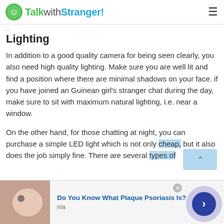TalkwithStranger!
Lighting
In addition to a good quality camera for being seen clearly, you also need high quality lighting. Make sure you are well lit and find a position where there are minimal shadows on your face. if you have joined an Guinean girl's stranger chat during the day, make sure to sit with maximum natural lighting, i.e. near a window.
On the other hand, for those chatting at night, you can purchase a simple LED light which is not only cheap, but it also does the job simply fine. There are several types of
[Figure (screenshot): Advertisement banner: skin image with text 'Do You Know What Plaque Psoriasis Is?' and n/a label, with a blue arrow button and close button]